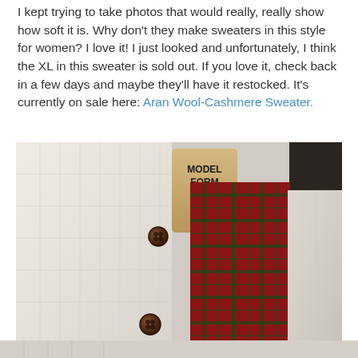I kept trying to take photos that would really, really show how soft it is. Why don't they make sweaters in this style for women? I love it! I just looked and unfortunately, I think the XL in this sweater is sold out. If you love it, check back in a few days and maybe they'll have it restocked. It's currently on sale here: Aran Wool-Cashmere Sweater.
[Figure (photo): Close-up photo of a cream/ivory cable-knit wool-cashmere sweater on a model form (mannequin torso labeled MODEL FORM CO. N.Y.), with brown buttons visible and a red plaid shirt peeking out from underneath. Bottom of frame shows additional sweater texture.]